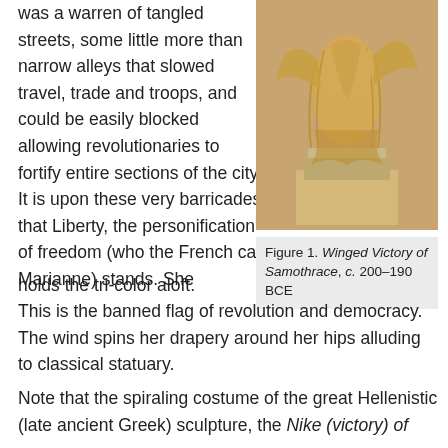was a warren of tangled streets, some little more than narrow alleys that slowed travel, trade and troops, and could be easily blocked allowing revolutionaries to fortify entire sections of the city. It is upon these very barricades that Liberty, the personification of freedom (who the French call Marianne) stands. She holds the tri-color aloft. This is the banned flag of revolution and democracy. The wind spins her drapery around her hips alluding to classical statuary.
[Figure (photo): Photograph of the Winged Victory of Samothrace sculpture, a headless winged female figure in flowing robes on a stone pedestal, with golden/warm tones]
Figure 1. Winged Victory of Samothrace, c. 200–190 BCE
Note that the spiraling costume of the great Hellenistic (late ancient Greek) sculpture, the Nike (victory) of